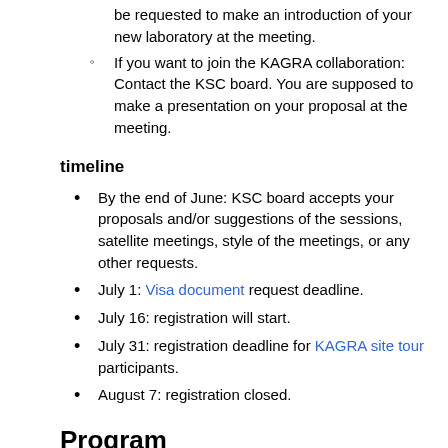be requested to make an introduction of your new laboratory at the meeting.
If you want to join the KAGRA collaboration: Contact the KSC board. You are supposed to make a presentation on your proposal at the meeting.
timeline
By the end of June: KSC board accepts your proposals and/or suggestions of the sessions, satellite meetings, style of the meetings, or any other requests.
July 1: Visa document request deadline.
July 16: registration will start.
July 31: registration deadline for KAGRA site tour participants.
August 7: registration closed.
Program
The asterisk (*) indicates that the talk requires a decision or approval of KSC members.